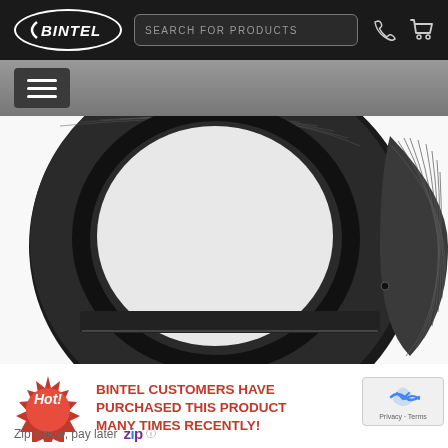BINTEL | SEARCH FOR PRODUCTS
[Figure (photo): Close-up photo of a black metal T-ring / lens adapter ring with threaded interior, knurled outer edge, seen from above on a white background.]
BINTEL CUSTOMERS HAVE PURCHASED THIS PRODUCT MANY TIMES RECENTLY!
Zip it now, pay later